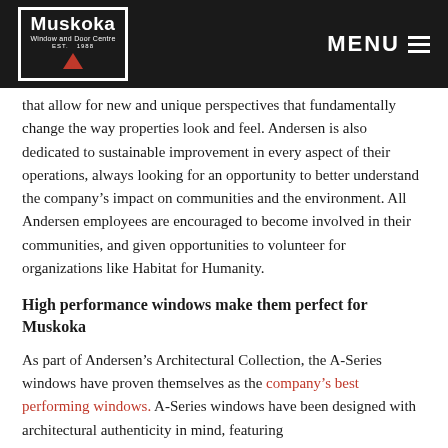Muskoka Window and Door Centre — MENU
that allow for new and unique perspectives that fundamentally change the way properties look and feel. Andersen is also dedicated to sustainable improvement in every aspect of their operations, always looking for an opportunity to better understand the company's impact on communities and the environment. All Andersen employees are encouraged to become involved in their communities, and given opportunities to volunteer for organizations like Habitat for Humanity.
High performance windows make them perfect for Muskoka
As part of Andersen's Architectural Collection, the A-Series windows have proven themselves as the company's best performing windows. A-Series windows have been designed with architectural authenticity in mind, featuring